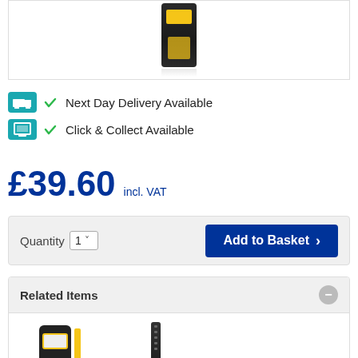[Figure (photo): Product image of a black and yellow torch/flashlight on white background]
Next Day Delivery Available
Click & Collect Available
£39.60 incl. VAT
Quantity 1  Add to Basket
Related Items
[Figure (photo): Vision Pro 300L product thumbnail]
[Figure (photo): Vision Pro 300LS product thumbnail]
Vision Pro 300L
Vision Pro 300LS